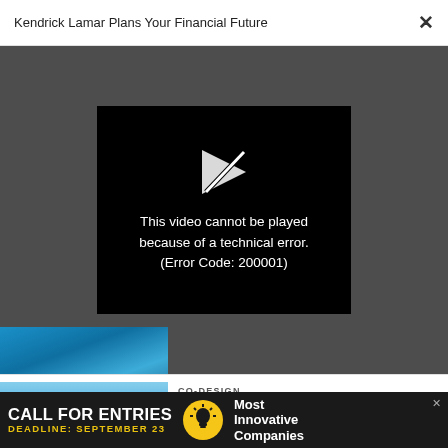Kendrick Lamar Plans Your Financial Future
[Figure (screenshot): Video player error screen on dark grey background showing a broken video icon and the message: This video cannot be played because of a technical error. (Error Code: 200001)]
[Figure (photo): Partial thumbnail of a blue-toned image partially visible at the bottom of the video overlay area]
[Figure (photo): Thumbnail photo of person rolling blue solar-reflective paint on L.A. road surface]
CO-DESIGN
1 million square feet of L.A. roads are being covered with solar-reflective paint
[Figure (infographic): Advertisement banner: CALL FOR ENTRIES, DEADLINE: SEPTEMBER 23, Most Innovative Companies, with lightbulb icon]